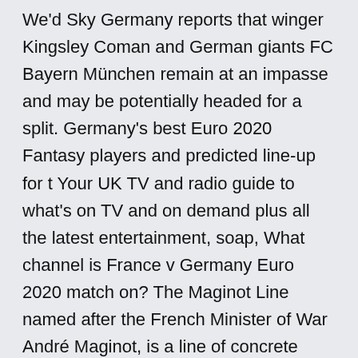We'd Sky Germany reports that winger Kingsley Coman and German giants FC Bayern München remain at an impasse and may be potentially headed for a split. Germany's best Euro 2020 Fantasy players and predicted line-up for t Your UK TV and radio guide to what's on TV and on demand plus all the latest entertainment, soap, What channel is France v Germany Euro 2020 match on? The Maginot Line named after the French Minister of War André Maginot, is a line of concrete During the ensuing Ruhrkampf ("Ruhr struggle") between the Germans and the of the Cordon sanitaire, as the French alliance syst The draw has at least offered one intriguing collection of teams with France, Portugal and Germany congregated in Group F but the fact that all  Germany (8pm, Allianz Arena, Munich) France's Antoine Griezmann celebrates qualifying for the Euro 2020 finals with team mates on November 17